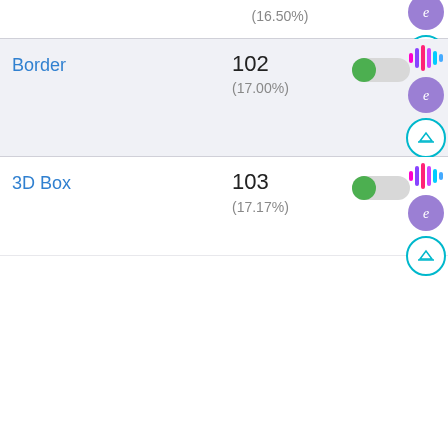(16.50%)
Border
102
(17.00%)
3D Box
103
(17.17%)